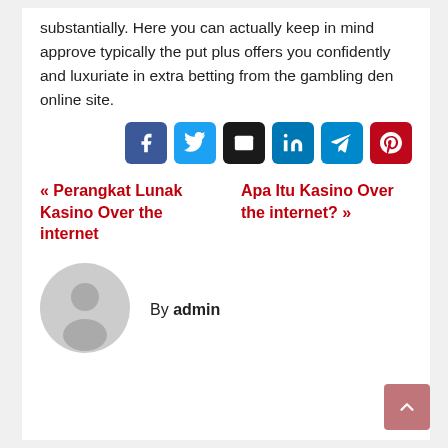substantially. Here you can actually keep in mind approve typically the put plus offers you confidently and luxuriate in extra betting from the gambling den online site.
[Figure (infographic): Row of 6 social share buttons: Facebook (blue), Twitter (light blue), Email (dark/black), LinkedIn (blue), Telegram (blue), Pinterest (red)]
« Perangkat Lunak Kasino Over the internet    Apa Itu Kasino Over the internet? »
[Figure (illustration): Generic user avatar icon — grey circle with silhouette of person]
By admin